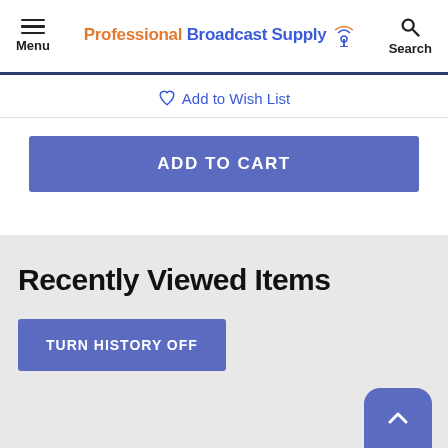Menu | Professional Broadcast Supply | Search
Add to Wish List
ADD TO CART
Recently Viewed Items
TURN HISTORY OFF